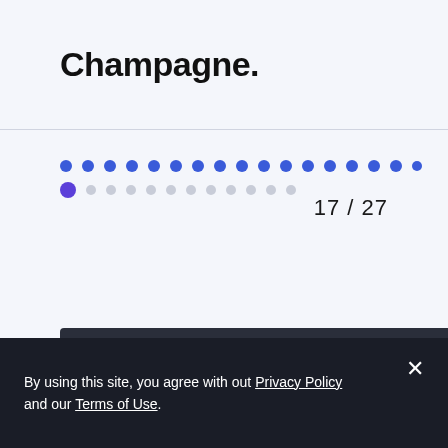Champagne.
[Figure (infographic): Two rows of dots used as a progress/pagination indicator. Top row: 17 blue filled dots. Bottom row: 1 purple filled dot followed by 11 grey empty dots.]
17 / 27
[Figure (photo): Partially visible dark photo at the bottom of the page.]
By using this site, you agree with out Privacy Policy and our Terms of Use.